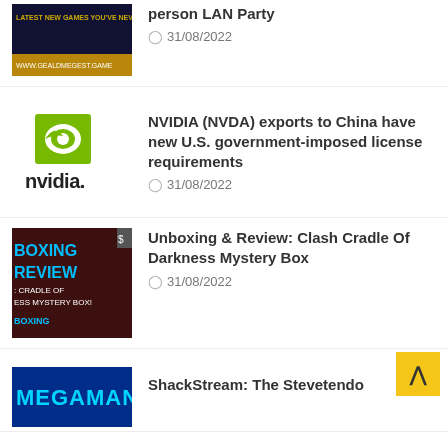[Figure (screenshot): Thumbnail image with text 'LATEST NEW GAMES YOU'VE NEVER H...' gaming/LAN party promotional image]
person LAN Party
31/08/2022
[Figure (logo): NVIDIA green eye logo with NVIDIA. wordmark below]
NVIDIA (NVDA) exports to China have new U.S. government-imposed license requirements
31/08/2022
[Figure (screenshot): Thumbnail for 'BOXING REVIEW: CRADLE OF DARKNESS MYSTERY BOX! UNBOXING' video]
Unboxing & Review: Clash Cradle Of Darkness Mystery Box
31/08/2022
[Figure (screenshot): MEGAMAN thumbnail image, partial at bottom]
ShackStream: The Stevetendo